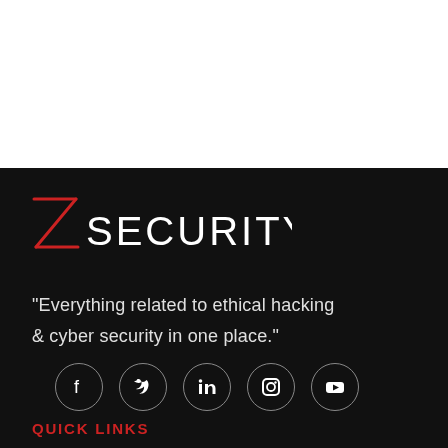[Figure (logo): ZSecurity logo — stylized red Z followed by white text 'SECURITY' in a custom geometric sans-serif font]
“Everything related to ethical hacking & cyber security in one place.”
[Figure (infographic): Row of 5 social media icons (Facebook, Twitter, LinkedIn, Instagram, YouTube) in circular outlines on dark background]
QUICK LINKS